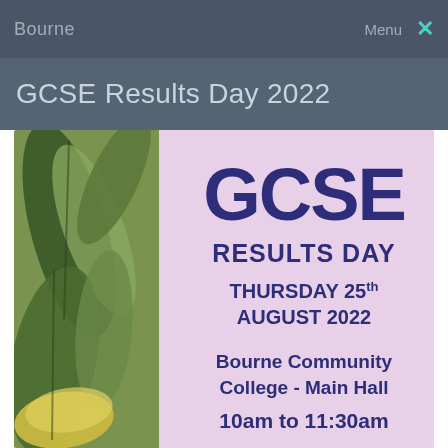Bourne  Menu ×
GCSE Results Day 2022
[Figure (illustration): Promotional poster for GCSE Results Day 2022 with large tropical plant leaves on the left side and text on a pink/lavender background. Text reads: GCSE RESULTS DAY THURSDAY 25th AUGUST 2022 Bourne Community College - Main Hall 10am to 11:30am]